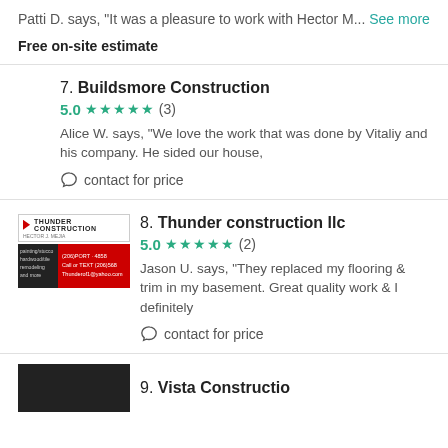Patti D. says, "It was a pleasure to work with Hector M... See more
Free on-site estimate
7. Buildsmore Construction
5.0 ★★★★★ (3)
Alice W. says, "We love the work that was done by Vitaliy and his company. He sided our house,
contact for price
[Figure (logo): Thunder Construction logo with red flag and business card image]
8. Thunder construction llc
5.0 ★★★★★ (2)
Jason U. says, "They replaced my flooring & trim in my basement. Great quality work & I definitely
contact for price
[Figure (logo): Dark logo for listing 9]
9. Vista Construction